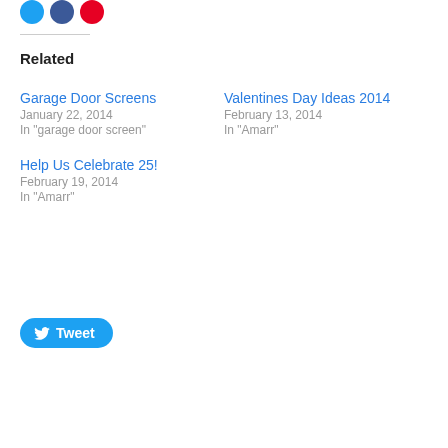[Figure (other): Three social media icon circles: Twitter (blue), Facebook (dark blue), Pinterest (red)]
Related
Garage Door Screens
January 22, 2014
In "garage door screen"
Valentines Day Ideas 2014
February 13, 2014
In "Amarr"
Help Us Celebrate 25!
February 19, 2014
In "Amarr"
[Figure (other): Tweet button with Twitter bird icon]